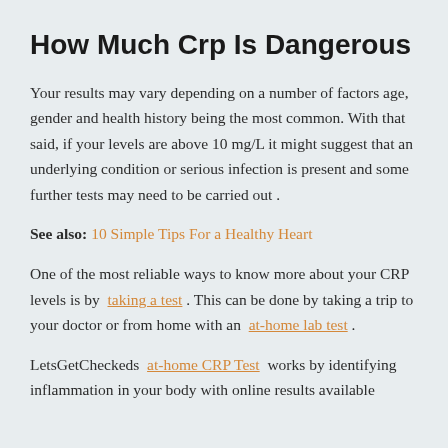How Much Crp Is Dangerous
Your results may vary depending on a number of factors age, gender and health history being the most common. With that said, if your levels are above 10 mg/L it might suggest that an underlying condition or serious infection is present and some further tests may need to be carried out .
See also: 10 Simple Tips For a Healthy Heart
One of the most reliable ways to know more about your CRP levels is by taking a test . This can be done by taking a trip to your doctor or from home with an at-home lab test .
LetsGetCheckeds at-home CRP Test works by identifying inflammation in your body with online results available